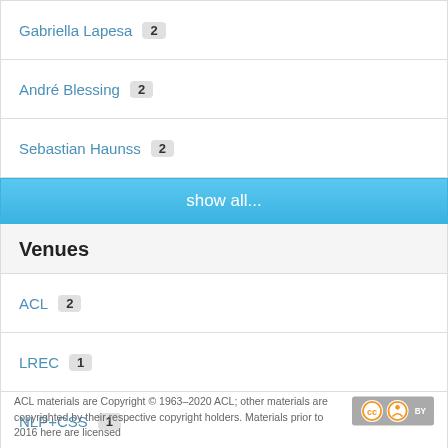Gabriella Lapesa 2
André Blessing 2
Sebastian Haunss 2
show all...
Venues
ACL 2
LREC 1
NLP+CSS 1
*SEMEVAL 1
ACL materials are Copyright © 1963–2020 ACL; other materials are copyrighted by their respective copyright holders. Materials prior to 2016 here are licensed